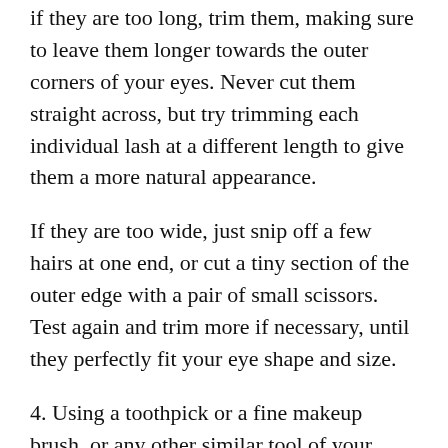if they are too long, trim them, making sure to leave them longer towards the outer corners of your eyes. Never cut them straight across, but try trimming each individual lash at a different length to give them a more natural appearance.
If they are too wide, just snip off a few hairs at one end, or cut a tiny section of the outer edge with a pair of small scissors. Test again and trim more if necessary, until they perfectly fit your eye shape and size.
4. Using a toothpick or a fine makeup brush, or any other similar tool of your choice, apply the glue along the base of your false lashes. Don't squeeze it directly from the tube, because too much product will come